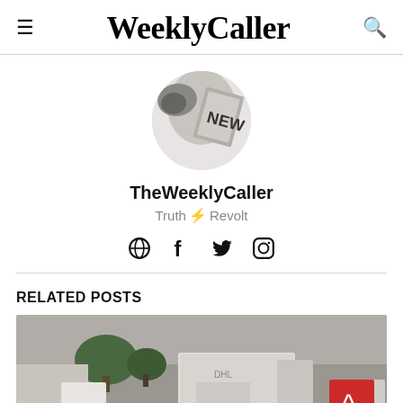WeeklyCaller
[Figure (illustration): Circular profile avatar image showing a black and white photo of newspaper headlines including the word NEWS]
TheWeeklyCaller
Truth ⚡ Revolt
[Figure (infographic): Row of social media icons: globe/web, Facebook, Twitter, Instagram]
RELATED POSTS
[Figure (photo): Aerial view of a street showing a large white truck, trees, and vehicles on a road with yellow lines]